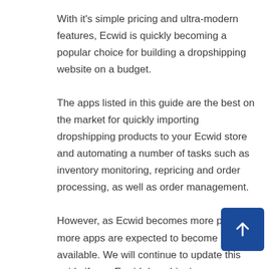With it's simple pricing and ultra-modern features, Ecwid is quickly becoming a popular choice for building a dropshipping website on a budget.
The apps listed in this guide are the best on the market for quickly importing dropshipping products to your Ecwid store and automating a number of tasks such as inventory monitoring, repricing and order processing, as well as order management.
However, as Ecwid becomes more popular, more apps are expected to become available. We will continue to update this guide if new Ecwid dropshipping apps are launched.